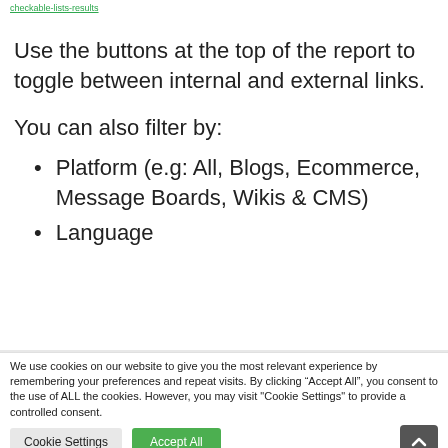Use the buttons at the top of the report to toggle between internal and external links.
You can also filter by:
Platform (e.g: All, Blogs, Ecommerce, Message Boards, Wikis & CMS)
Language
We use cookies on our website to give you the most relevant experience by remembering your preferences and repeat visits. By clicking “Accept All”, you consent to the use of ALL the cookies. However, you may visit "Cookie Settings" to provide a controlled consent.